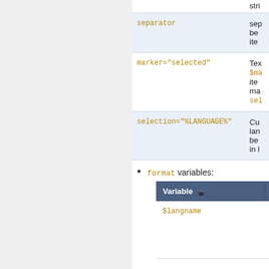|  |  |
| --- | --- |
| separator | sep
be
ite |
| marker="selected" | Te
$ma
ite
ma
sel |
| selection="%LANGUAGE%" | Cu
lan
be
in l |
format variables:
| Variable | Meaning |
| --- | --- |
| $langname | language's name, as informed by the translators |